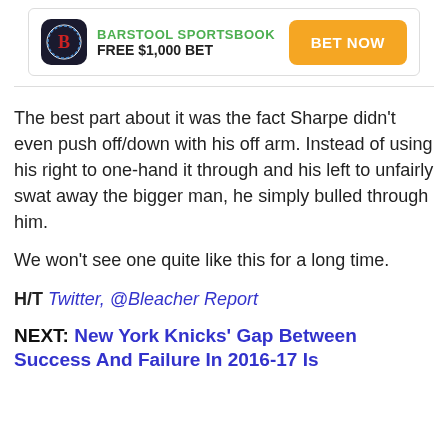[Figure (other): Barstool Sportsbook advertisement banner with logo, FREE $1,000 BET text, and BET NOW button]
The best part about it was the fact Sharpe didn't even push off/down with his off arm. Instead of using his right to one-hand it through and his left to unfairly swat away the bigger man, he simply bulled through him.
We won't see one quite like this for a long time.
H/T Twitter, @Bleacher Report
NEXT: New York Knicks' Gap Between Success And Failure In 2016-17 Is